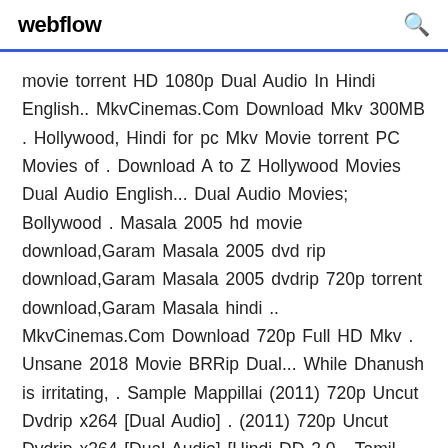webflow
movie torrent HD 1080p Dual Audio In Hindi English.. MkvCinemas.Com Download Mkv 300MB . Hollywood, Hindi for pc Mkv Movie torrent PC Movies of . Download A to Z Hollywood Movies Dual Audio English... Dual Audio Movies; Bollywood . Masala 2005 hd movie download,Garam Masala 2005 dvd rip download,Garam Masala 2005 dvdrip 720p torrent download,Garam Masala hindi .. MkvCinemas.Com Download 720p Full HD Mkv . Unsane 2018 Movie BRRip Dual... While Dhanush is irritating, . Sample Mappillai (2011) 720p Uncut Dvdrip x264 [Dual Audio] . (2011) 720p Uncut Dvdrip x264 [Dual Audio] [Hindi DD 2.0 - Tamil 2.0] .. Visit Our New Site 8xmovies